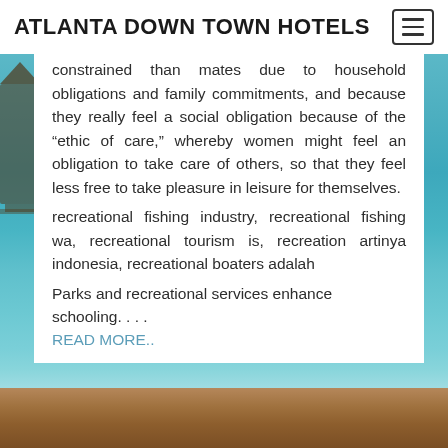ATLANTA DOWN TOWN HOTELS
constrained than mates due to household obligations and family commitments, and because they really feel a social obligation because of the “ethic of care,” whereby women might feel an obligation to take care of others, so that they feel less free to take pleasure in leisure for themselves.
recreational fishing industry, recreational fishing wa, recreational tourism is, recreation artinya indonesia, recreational boaters adalah
Parks and recreational services enhance schooling. . . .
READ MORE..
[Figure (photo): Tropical overwater bungalows and dock over turquoise ocean water, with a wooden dock visible at the bottom of the image.]